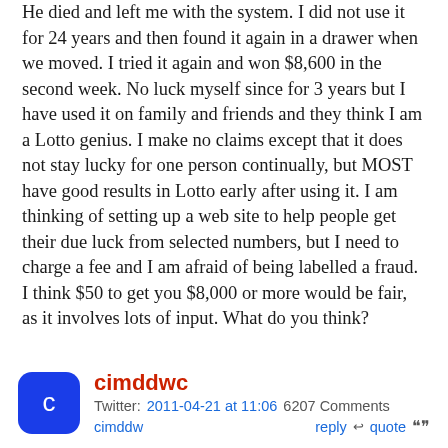He died and left me with the system. I did not use it for 24 years and then found it again in a drawer when we moved. I tried it again and won $8,600 in the second week. No luck myself since for 3 years but I have used it on family and friends and they think I am a Lotto genius. I make no claims except that it does not stay lucky for one person continually, but MOST have good results in Lotto early after using it. I am thinking of setting up a web site to help people get their due luck from selected numbers, but I need to charge a fee and I am afraid of being labelled a fraud. I think $50 to get you $8,000 or more would be fair, as it involves lots of input. What do you think?
cimddwc Twitter: 2011-04-21 at 11:06 6207 Comments reply quote cimddw